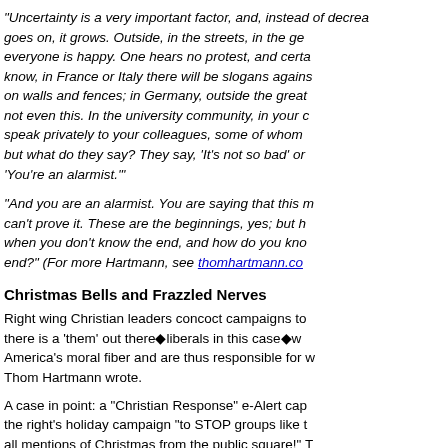"Uncertainty is a very important factor, and, instead of decreasing as time goes on, it grows. Outside, in the streets, in the general community, everyone is happy. One hears no protest, and certainly no discussion. I know, in France or Italy there will be slogans against the government painted on walls and fences; in Germany, outside the great cities, perhaps, but not even this. In the university community, in your own community, you speak privately to your colleagues, some of whom certainly feel as you do; but what do they say? They say, 'It's not so bad' or 'You're exaggerating.' 'You're an alarmist.'"
"And you are an alarmist. You are saying that this must lead somewhere; you can't prove it. These are the beginnings, yes; but how do you know for sure when you don't know the end, and how do you know, or even surmise, the end?" (For more Hartmann, see thomhartmann.com)
Christmas Bells and Frazzled Nerves
Right wing Christian leaders concoct campaigns to make people believe that there is a 'them' out there◆liberals in this case◆who want to destroy America's moral fiber and are thus responsible for whatever ails us, as Thom Hartmann wrote.
A case in point: a "Christian Response" e-Alert captured the essence of the right's holiday campaign "to STOP groups like the ACLU from banning all mentions of Christmas from the public square!" The email came complete with a laundry list "of the most blatant examples of attacks on Christmas this year."
The centerpiece of this campaign was a radio ad aimed at...